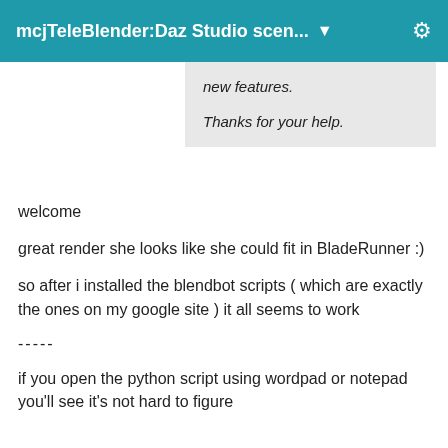mcjTeleBlender:Daz Studio scen... ▼
new features.

Thanks for your help.
welcome
great render she looks like she could fit in BladeRunner :)
so after i installed the blendbot scripts ( which are exactly the ones on my google site ) it all seems to work
-----
if you open the python script using wordpad or notepad you'll see it's not hard to figure